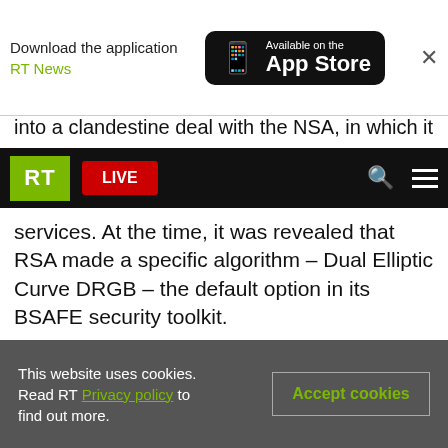Download the application RT News — Available on the App Store
into a clandestine deal with the NSA, in which it
RT LIVE
services. At the time, it was revealed that RSA made a specific algorithm – Dual Elliptic Curve DRGB – the default option in its BSAFE security toolkit.
The latest discovery by university researchers alleges that RSA also implemented a second security tool, known as the “Extended Random” extension. As noted by Reuters, this tool was not used very often compared to others, but it “could help crack a version of RSA's Dual Elliptic Curve
This website uses cookies. Read RT Privacy policy to find out more.